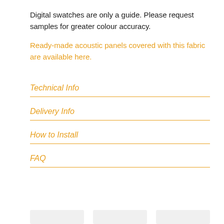Digital swatches are only a guide. Please request samples for greater colour accuracy.
Ready-made acoustic panels covered with this fabric are available here.
Technical Info
Delivery Info
How to Install
FAQ